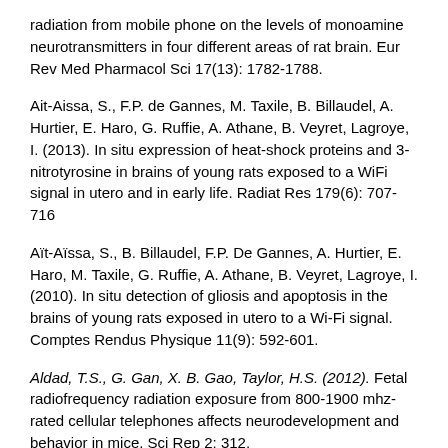radiation from mobile phone on the levels of monoamine neurotransmitters in four different areas of rat brain. Eur Rev Med Pharmacol Sci 17(13): 1782-1788.
Ait-Aissa, S., F.P. de Gannes, M. Taxile, B. Billaudel, A. Hurtier, E. Haro, G. Ruffie, A. Athane, B. Veyret, Lagroye, I. (2013). In situ expression of heat-shock proteins and 3-nitrotyrosine in brains of young rats exposed to a WiFi signal in utero and in early life. Radiat Res 179(6): 707-716
Aït-Aïssa, S., B. Billaudel, F.P. De Gannes, A. Hurtier, E. Haro, M. Taxile, G. Ruffie, A. Athane, B. Veyret, Lagroye, I. (2010). In situ detection of gliosis and apoptosis in the brains of young rats exposed in utero to a Wi-Fi signal. Comptes Rendus Physique 11(9): 592-601.
Aldad, T.S., G. Gan, X. B. Gao, Taylor, H.S. (2012). Fetal radiofrequency radiation exposure from 800-1900 mhz-rated cellular telephones affects neurodevelopment and behavior in mice. Sci Rep 2: 312.